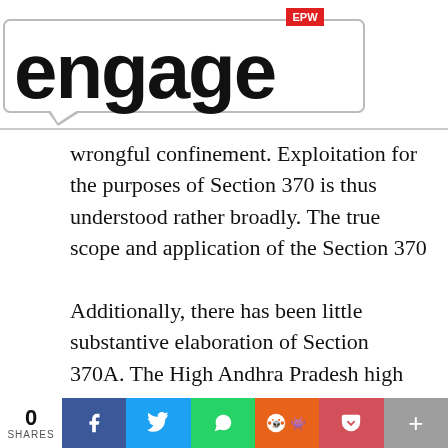EPW engage
wrongful confinement. Exploitation for the purposes of Section 370 is thus understood rather broadly. The true scope and application of the Section 370 is therefore dynamic.
Additionally, there has been little substantive elaboration of Section 370A. The High Andhra Pradesh high court (S Naveen Kumar v State of Telangana 2015 (2) ALD(Crl.) 156(AP)) has held that a customer of a sex worker could be charge-sheeted under Section 370A. The Gujar...
0 SHARES | Facebook | Twitter | WhatsApp | Reddit | Pocket | +